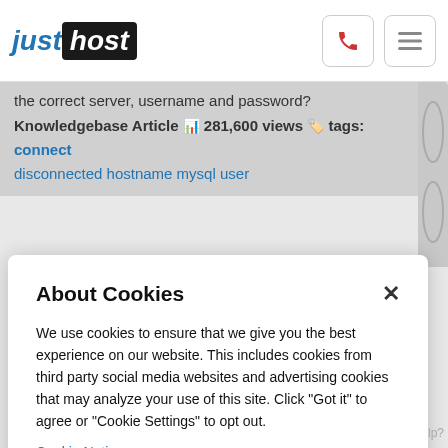[Figure (logo): JustHost logo with 'just' in blue italic and 'host' in white on black background]
the correct server, username and password?
Knowledgebase Article 📊 281,600 views 🏷️ tags: connect disconnected hostname mysql user
About Cookies
We use cookies to ensure that we give you the best experience on our website. This includes cookies from third party social media websites and advertising cookies that may analyze your use of this site. Click "Got it" to agree or "Cookie Settings" to opt out.
Cookie Notice
Got It
Cookies Settings